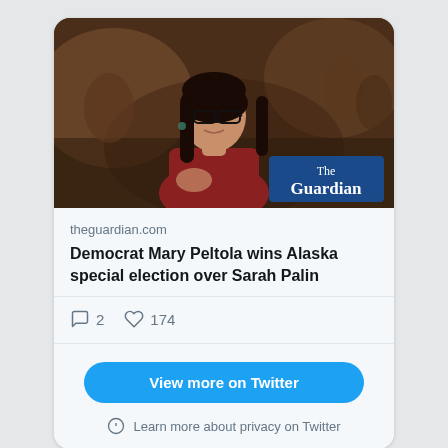[Figure (photo): Photo of Mary Peltola smiling at an event, wearing a dark red top and glasses, with a crowd in a dim background. The Guardian logo badge appears in the bottom right corner of the photo.]
theguardian.com
Democrat Mary Peltola wins Alaska special election over Sarah Palin
2
174
View more on Twitter
Learn more about privacy on Twitter